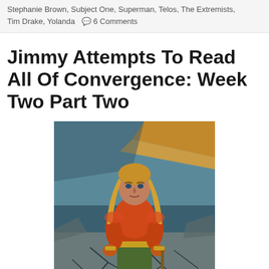Stephanie Brown, Subject One, Superman, Telos, The Extremists, Tim Drake, Yolanda   💬 6 Comments
Jimmy Attempts To Read All Of Convergence: Week Two Part Two
[Figure (illustration): Comic book illustration of Aquaman-like character with long blonde hair wearing orange scale-textured armor/suit with gold accents, crouching on cracked ground with orange diagonal light beams and teal/grey background]